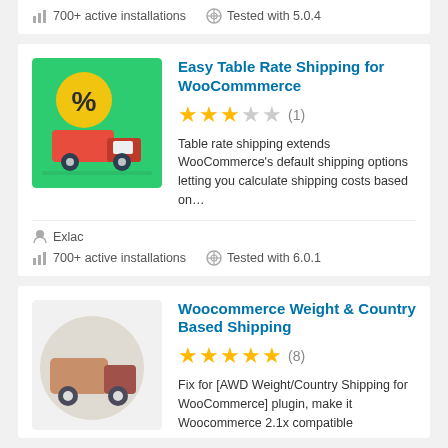700+ active installations   Tested with 5.0.4
Easy Table Rate Shipping for WooCommmerce
★★★☆☆ (1)
Table rate shipping extends WooCommerce's default shipping options letting you calculate shipping costs based on…
Exlac
700+ active installations   Tested with 6.0.1
Woocommerce Weight & Country Based Shipping
★★★★★ (8)
Fix for [AWD Weight/Country Shipping for WooCommerce] plugin, make it Woocommerce 2.1x compatible